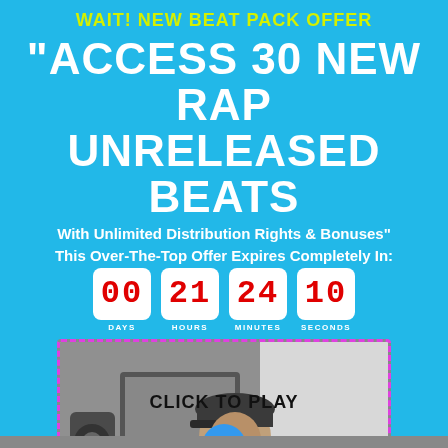WAIT! NEW BEAT PACK OFFER
"ACCESS 30 NEW RAP UNRELEASED BEATS
With Unlimited Distribution Rights & Bonuses"
This Over-The-Top Offer Expires Completely In:
00 DAYS  21 HOURS  24 MINUTES  10 SECONDS
[Figure (photo): A person in a black t-shirt and cap sitting in a music studio with speakers and computer monitors, shown in black and white with a CLICK TO PLAY label and blue play button overlay]